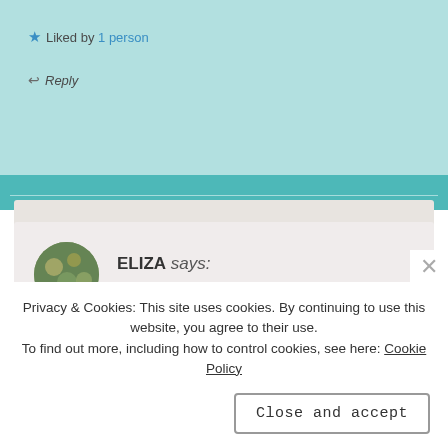Liked by 1 person
Reply
ELIZA says:
APR 26, 2020 AT 17:03
Thanks K! I hope so...
Privacy & Cookies: This site uses cookies. By continuing to use this website, you agree to their use.
To find out more, including how to control cookies, see here: Cookie Policy
Close and accept